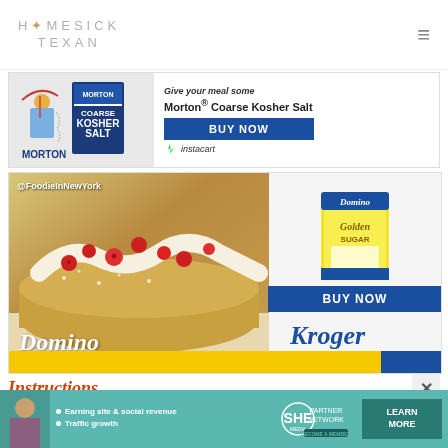HOMESICK TEXAN
[Figure (advertisement): Morton Coarse Kosher Salt advertisement with product image, tagline 'Give your meal some Morton® Coarse Kosher Salt', BUY NOW button, and instacart logo]
[Figure (advertisement): Domino Golden Sugar advertisement showing a raspberry cream roll cake with @FoodieInNewYork tag, Domino sugar bag, BUY NOW button, and Kroger logo with yellow/blue branded banner]
Instructions
[Figure (advertisement): SHE Media partner network banner advertisement with woman photo, bullets about earning site & social revenue and traffic growth, SHE logo, LEARN MORE button, and BECOME A MEMBER call to action]